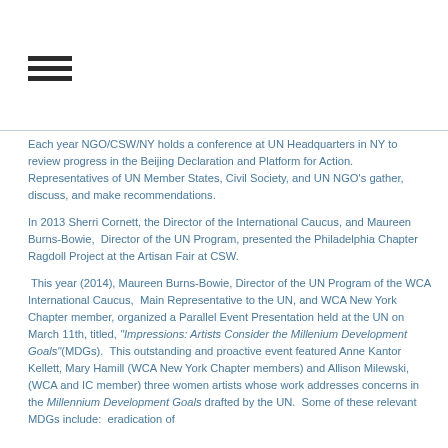[Figure (other): Hamburger menu icon — three horizontal black lines]
Each year NGO/CSW/NY holds a conference at UN Headquarters in NY to review progress in the Beijing Declaration and Platform for Action.  Representatives of UN Member States, Civil Society, and UN NGO's gather, discuss, and make recommendations.
In 2013 Sherri Cornett, the Director of the International Caucus, and Maureen Burns-Bowie,  Director of the UN Program, presented the Philadelphia Chapter Ragdoll Project at the Artisan Fair at CSW.
This year (2014), Maureen Burns-Bowie, Director of the UN Program of the WCA International Caucus,  Main Representative to the UN, and WCA New York Chapter member, organized a Parallel Event Presentation held at the UN on March 11th, titled, "Impressions: Artists Consider the Millenium Development Goals" (MDGs).  This outstanding and proactive event featured Anne Kantor Kellett, Mary Hamill (WCA New York Chapter members) and Allison Milewski, (WCA and IC member) three women artists whose work addresses concerns in the Millennium Development Goals drafted by the UN.  Some of these relevant MDGs include:  eradication of